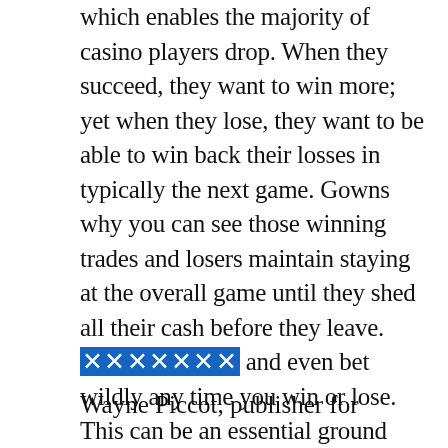which enables the majority of casino players drop. When they succeed, they want to win more; yet when they lose, they want to be able to win back their losses in typically the next game. Gowns why you can see those winning trades and losers maintain staying at the overall game until they shed all their cash before they leave. [link] and even bet wildly any time you win or lose. This can be an essential ground rule to be able to be followed by internet casino players. An individual should know if you should quit the sport to consider the profits or take the particular losses if good luck is not at your side.
Wayne Piccot, publisher for